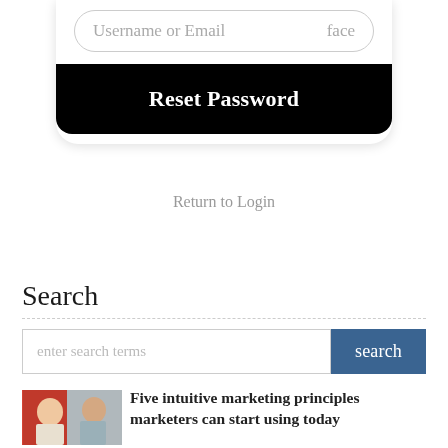[Figure (screenshot): Username or Email input field with placeholder text and 'face' label on the right, followed by a black rounded Reset Password button]
Return to Login
Search
[Figure (screenshot): Search input field with placeholder 'enter search terms' and a blue 'search' button]
[Figure (photo): Photo of two people (man and woman) looking thoughtful]
Five intuitive marketing principles marketers can start using today